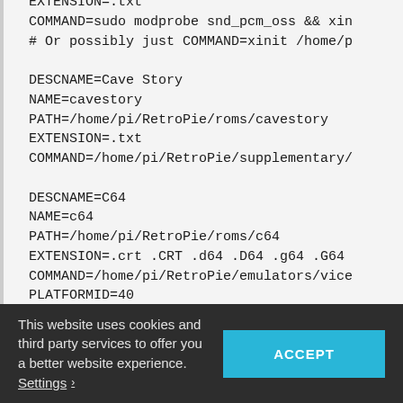EXTENSION=.txt
COMMAND=sudo modprobe snd_pcm_oss && xin
# Or possibly just COMMAND=xinit /home/p

DESCNAME=Cave Story
NAME=cavestory
PATH=/home/pi/RetroPie/roms/cavestory
EXTENSION=.txt
COMMAND=/home/pi/RetroPie/supplementary/

DESCNAME=C64
NAME=c64
PATH=/home/pi/RetroPie/roms/c64
EXTENSION=.crt .CRT .d64 .D64 .g64 .G64
COMMAND=/home/pi/RetroPie/emulators/vice
PLATFORMID=40

DESCNAME=Doom
NAME=doom
PATH=/home/pi/RetroPie/roms/doom
EXTENSION=.WAD .wad
This website uses cookies and third party services to offer you a better website experience. Settings ▾